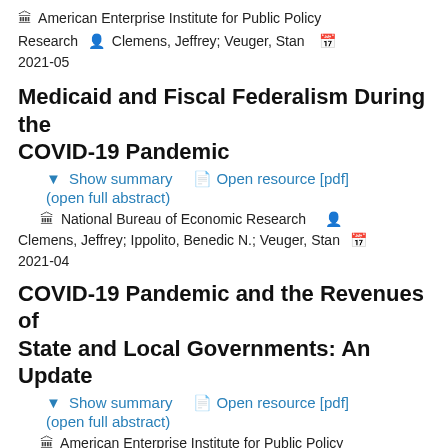🏛 American Enterprise Institute for Public Policy Research   👤 Clemens, Jeffrey; Veuger, Stan   📅 2021-05
Medicaid and Fiscal Federalism During the COVID-19 Pandemic
Show summary   Open resource [pdf]   (open full abstract)
🏛 National Bureau of Economic Research   👤 Clemens, Jeffrey; Ippolito, Benedic N.; Veuger, Stan   📅 2021-04
COVID-19 Pandemic and the Revenues of State and Local Governments: An Update
Show summary   Open resource [pdf]   (open full abstract)
🏛 American Enterprise Institute for Public Policy Research   👤 Clemens, Jeffrey; Veuger, Stan   📅